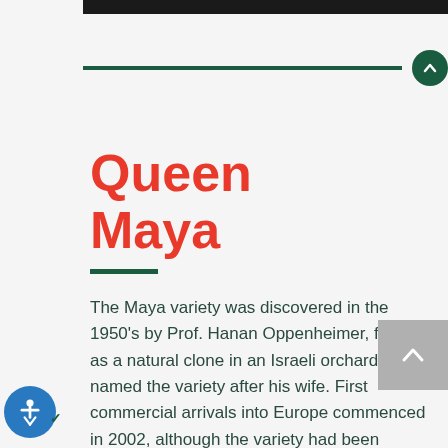[Figure (other): Dark top navigation bar]
[Figure (other): Green horizontal rule with dark green up-arrow circular button on the right]
Queen Maya
The Maya variety was discovered in the 1950's by Prof. Hanan Oppenheimer, found as a natural clone in an Israeli orchard.  He named the variety after his wife. First commercial arrivals into Europe commenced in 2002, although the variety had been common on local markets for several